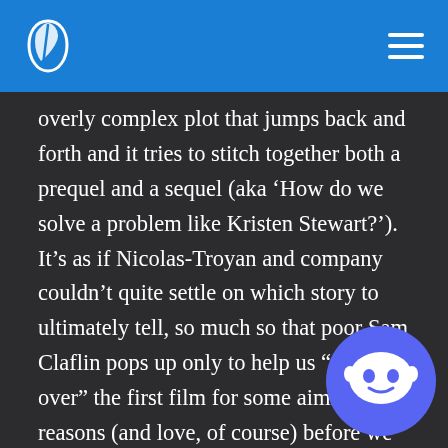Letterboxd navigation header
overly complex plot that jumps back and forth and it tries to stitch together both a prequel and a sequel (aka ‘How do we solve a problem like Kristen Stewart?’). It’s as if Nicolas-Troyan and company couldn’t quite settle on which story to ultimately tell, so much so that poor Sam Claflin pops up only to help us “jump over” the first film for some aimless reasons (and love, of course) before we set off into something that always feels rushed and unfinished, meandering towards its inevitable conclusions. The debutant director does a decent enough job at keep things energetic when it needs to be, while letting Theron in particular chew the scenery with utter delight but